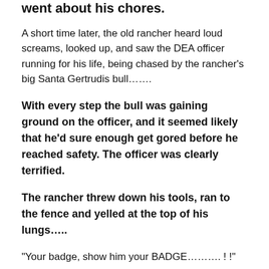went about his chores.
A short time later, the old rancher heard loud screams, looked up, and saw the DEA officer running for his life, being chased by the rancher's big Santa Gertrudis bull…….
With every step the bull was gaining ground on the officer, and it seemed likely that he'd sure enough get gored before he reached safety.  The officer was clearly terrified.
The rancher threw down his tools, ran to the fence and yelled at the top of his lungs…..
“Your badge, show him your BADGE………. ! !”